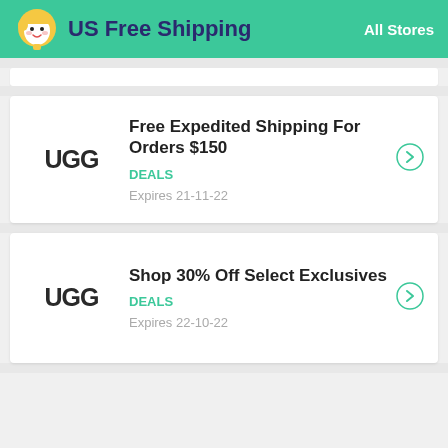US Free Shipping  All Stores
Free Expedited Shipping For Orders $150
DEALS
Expires 21-11-22
Shop 30% Off Select Exclusives
DEALS
Expires 22-10-22